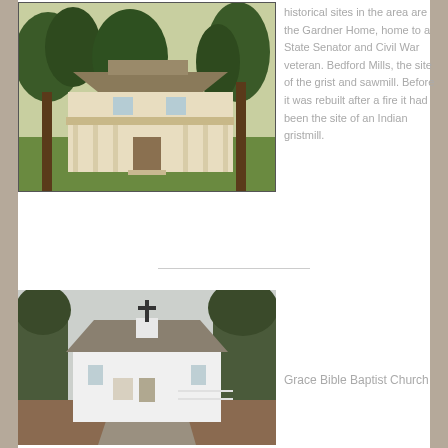[Figure (photo): A large historic white house with a wraparound porch surrounded by large trees on a green lawn]
historical sites in the area are the Gardner Home, home to a State Senator and Civil War veteran. Bedford Mills, the site of the grist and sawmill. Before it was rebuilt after a fire it had been the site of an Indian gristmill.
[Figure (photo): A small white church building with a cross, surrounded by bare trees, with a driveway in front]
Grace Bible Baptist Church